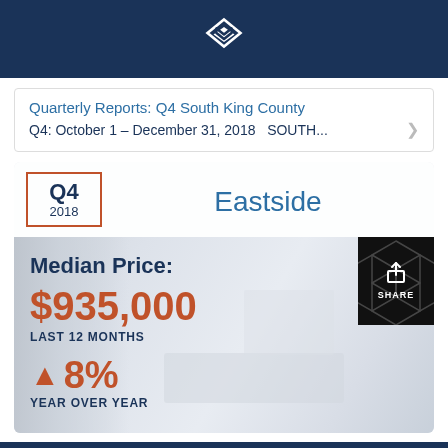Windermere Real Estate logo
Quarterly Reports: Q4 South King County
Q4: October 1 – December 31, 2018   SOUTH...
Q4 2018 Eastside
Median Price:
$935,000
LAST 12 MONTHS
▲ 8%
YEAR OVER YEAR